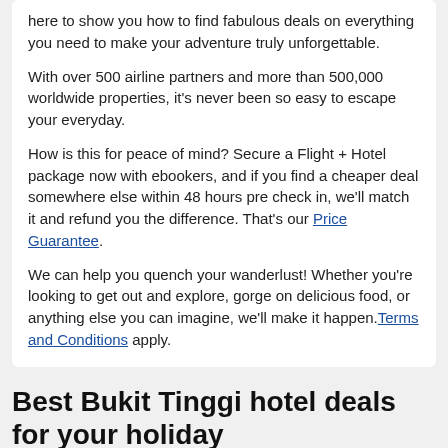here to show you how to find fabulous deals on everything you need to make your adventure truly unforgettable.
With over 500 airline partners and more than 500,000 worldwide properties, it's never been so easy to escape your everyday.
How is this for peace of mind? Secure a Flight + Hotel package now with ebookers, and if you find a cheaper deal somewhere else within 48 hours pre check in, we'll match it and refund you the difference. That's our Price Guarantee.
We can help you quench your wanderlust! Whether you're looking to get out and explore, gorge on delicious food, or anything else you can imagine, we'll make it happen. Terms and Conditions apply.
Best Bukit Tinggi hotel deals for your holiday
[Figure (photo): Photo placeholder for The Chateau Spa & Wellness Resort with broken image icon and alt text]
The Chateau Spa & Wellness Resort
★★★★★
Km 48 Persimpangan Bertingkat, Lebuhraya Karak,...